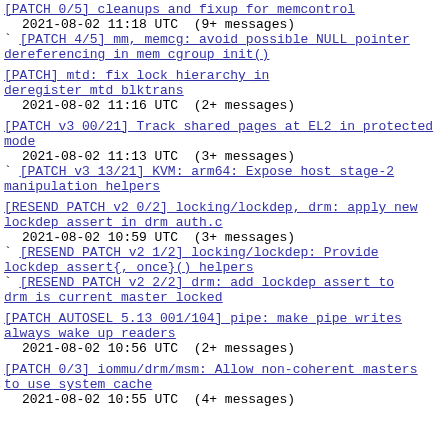[PATCH 0/5] cleanups and fixup for memcontrol
  2021-08-02 11:18 UTC  (9+ messages)
` [PATCH 4/5] mm, memcg: avoid possible NULL pointer dereferencing in mem cgroup init()
[PATCH] mtd: fix lock hierarchy in deregister mtd blktrans
  2021-08-02 11:16 UTC  (2+ messages)
[PATCH v3 00/21] Track shared pages at EL2 in protected mode
  2021-08-02 11:13 UTC  (3+ messages)
` [PATCH v3 13/21] KVM: arm64: Expose host stage-2 manipulation helpers
[RESEND PATCH v2 0/2] locking/lockdep, drm: apply new lockdep assert in drm auth.c
  2021-08-02 10:59 UTC  (3+ messages)
` [RESEND PATCH v2 1/2] locking/lockdep: Provide lockdep assert{, once}() helpers
` [RESEND PATCH v2 2/2] drm: add lockdep assert to drm is current master locked
[PATCH AUTOSEL 5.13 001/104] pipe: make pipe writes always wake up readers
  2021-08-02 10:56 UTC  (2+ messages)
[PATCH 0/3] iommu/drm/msm: Allow non-coherent masters to use system cache
  2021-08-02 10:55 UTC  (4+ messages)